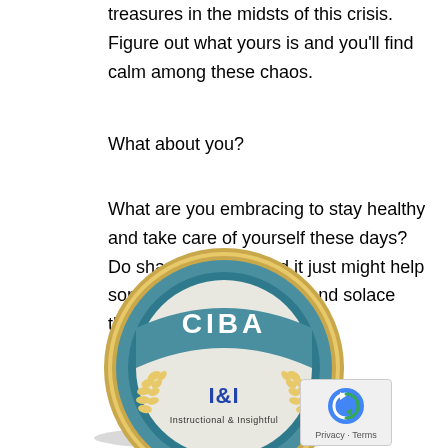treasures in the midsts of this crisis. Figure out what yours is and you'll find calm among these chaos.
What about you?
What are you embracing to stay healthy and take care of yourself these days? Do share your tips and it just might help someone seeking peace and solace these days.
[Figure (logo): CIBA badge/seal logo with gold outer ring, teal inner circle, wheat/laurel decorations, text 'CIBA' at top, 'I&I' in center, 'Instructional & Insightful' at bottom]